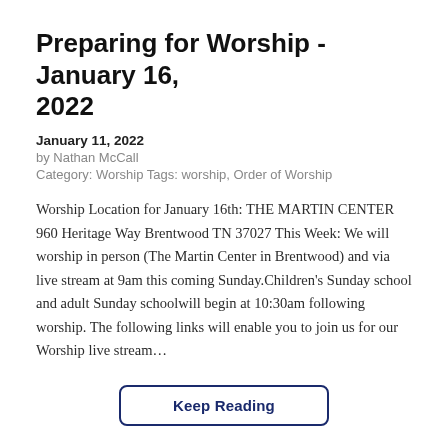Preparing for Worship - January 16, 2022
January 11, 2022
by Nathan McCall
Category: Worship Tags: worship, Order of Worship
Worship Location for January 16th: THE MARTIN CENTER 960 Heritage Way Brentwood TN 37027 This Week: We will worship in person (The Martin Center in Brentwood) and via live stream at 9am this coming Sunday.Children's Sunday school and adult Sunday schoolwill begin at 10:30am following worship. The following links will enable you to join us for our Worship live stream…
Keep Reading
Preparing for Worship - January 9, 2022